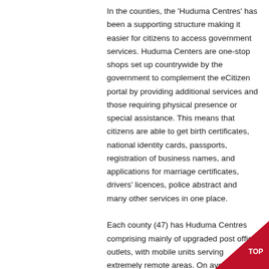In the counties, the 'Huduma Centres' has been a supporting structure making it easier for citizens to access government services. Huduma Centers are one-stop shops set up countrywide by the government to complement the eCitizen portal by providing additional services and those requiring physical presence or special assistance. This means that citizens are able to get birth certificates, national identity cards, passports, registration of business names, and applications for marriage certificates, drivers' licences, police abstract and many other services in one place.

Each county (47) has Huduma Centres comprising mainly of upgraded post office outlets, with mobile units serving extremely remote areas. On average, 12,000 people are served daily at Huduma Cente and as of June 2015, payments for services
[Figure (other): Red triangle badge in bottom-right corner with text 'TOP' in white]